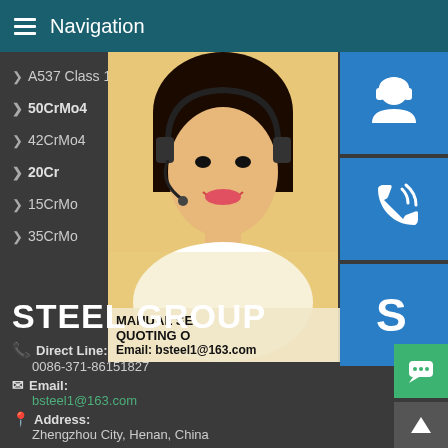Navigation
A537 Class 1
P235C
50CrMo4
51CrV
42CrMo4
12Cr1
20Cr
40Cr
15CrMo
30CrMo
35CrMo
42CrMo
[Figure (photo): Woman with headset customer service photo with blue icon buttons for support, phone, and Skype; overlay text: MANUAL SE, QUOTING O, Email: bsteel1@163.com]
STEEL GROUP
Direct Line: 0086-371-86151827
Email: bsteel1@163.com
Address: Zhengzhou City, Henan, China